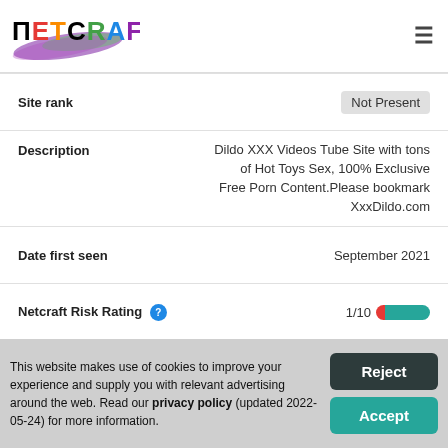[Figure (logo): Netcraft logo with rainbow-colored lettering and purple/green brush stroke behind text]
| Site rank | Not Present |
| Description | Dildo XXX Videos Tube Site with tons of Hot Toys Sex, 100% Exclusive Free Porn Content.Please bookmark XxxDildo.com |
| Date first seen | September 2021 |
| Netcraft Risk Rating | 1/10 |
| Primary language | English |
This website makes use of cookies to improve your experience and supply you with relevant advertising around the web. Read our privacy policy (updated 2022-05-24) for more information.